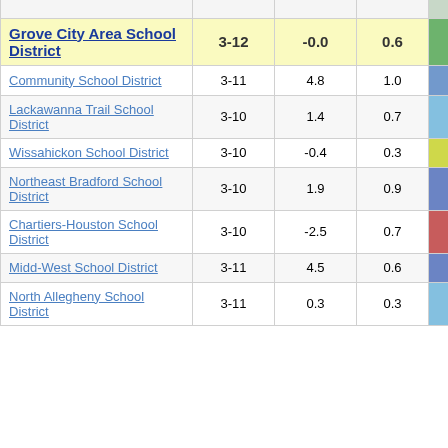| District | Grades | Col3 | Col4 | Score |
| --- | --- | --- | --- | --- |
| Grove City Area School District | 3-12 | -0.0 | 0.6 | -0.00 |
| Community School District | 3-11 | 4.8 | 1.0 | 4.64 |
| Lackawanna Trail School District | 3-10 | 1.4 | 0.7 | 1.91 |
| Wissahickon School District | 3-10 | -0.4 | 0.3 | -1.33 |
| Northeast Bradford School District | 3-10 | 1.9 | 0.9 | 2.12 |
| Chartiers-Houston School District | 3-10 | -2.5 | 0.7 | -3.68 |
| Midd-West School District | 3-11 | 4.5 | 0.6 | 8.11 |
| North Allegheny School District | 3-11 | 0.3 | 0.3 | 1.31 |